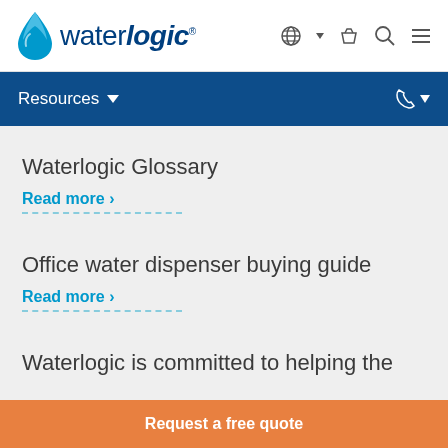waterlogic — navigation header with globe, basket, search, and menu icons
Resources ∨
Waterlogic Glossary
Read more ›
Office water dispenser buying guide
Read more ›
Waterlogic is committed to helping the
Request a free quote